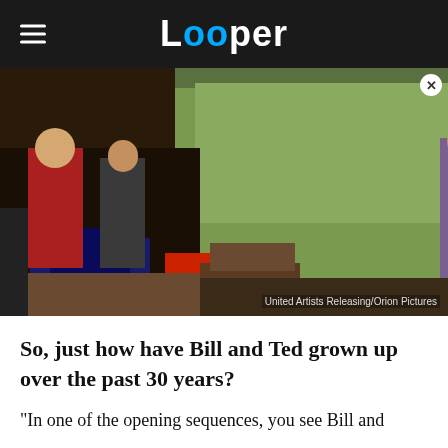Looper
[Figure (photo): Movie still from Bill & Ted Face the Music showing characters at a garage sale with items including vinyl records and guitar cases. An overlaid video thumbnail shows a man's face against a blue background with a play button, and a second thumbnail shows a guitar and record shelf. Credit: United Artists Releasing/Orion Pictures]
So, just how have Bill and Ted grown up over the past 30 years?
"In one of the opening sequences, you see Bill and